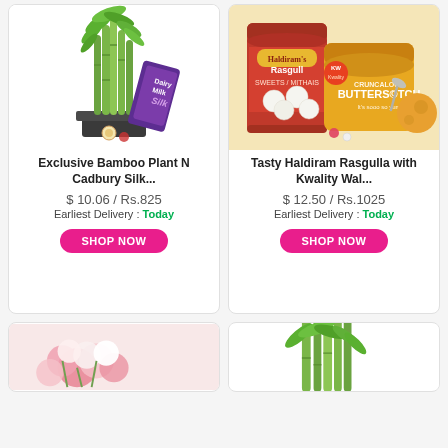[Figure (photo): Bamboo plant in black pot with Cadbury Dairy Milk Silk chocolate bar and decorative items]
[Figure (photo): Haldiram Rasgulla can with Kwality Walls Crunchy Buttersotch ice cream tub and decorative items on yellow background]
Exclusive Bamboo Plant N Cadbury Silk...
Tasty Haldiram Rasgulla with Kwality Wal...
$ 10.06 / Rs.825
$ 12.50 / Rs.1025
Earliest Delivery : Today
Earliest Delivery : Today
SHOP NOW
SHOP NOW
[Figure (photo): Partial view of pink and white flower arrangement]
[Figure (photo): Partial view of bamboo plant]